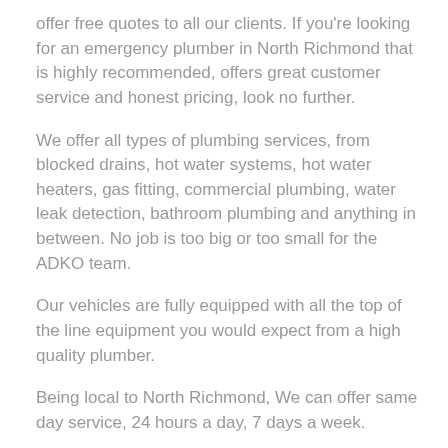offer free quotes to all our clients. If you're looking for an emergency plumber in North Richmond that is highly recommended, offers great customer service and honest pricing, look no further.
We offer all types of plumbing services, from blocked drains, hot water systems, hot water heaters, gas fitting, commercial plumbing, water leak detection, bathroom plumbing and anything in between. No job is too big or too small for the ADKO team.
Our vehicles are fully equipped with all the top of the line equipment you would expect from a high quality plumber.
Being local to North Richmond, We can offer same day service, 24 hours a day, 7 days a week.
Call Us